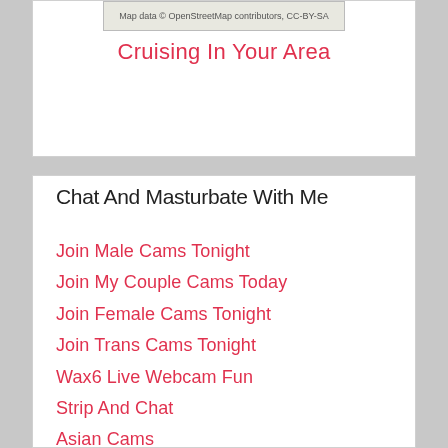[Figure (map): Map data © OpenStreetMap contributors, CC-BY-SA]
Cruising In Your Area
Chat And Masturbate With Me
Join Male Cams Tonight
Join My Couple Cams Today
Join Female Cams Tonight
Join Trans Cams Tonight
Wax6 Live Webcam Fun
Strip And Chat
Asian Cams
Russian Cams
North American Cams
Nude Live Cams
South American Cams